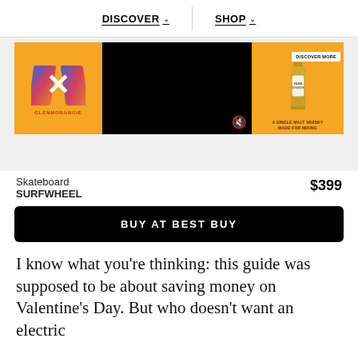DISCOVER   SHOP
[Figure (screenshot): Advertisement banner for Glenmorangie X single malt whisky on an orange background, featuring an X logo on the left, a black video player in the center with a mute icon, and a whisky bottle on the right with 'DISCOVER MORE' button and tagline 'A SINGLE MALT WHISKY MADE FOR MIXING']
Skateboard
SURFWHEEL
$399
BUY AT BEST BUY
I know what you’re thinking: this guide was supposed to be about saving money on Valentine’s Day. But who doesn’t want an electric